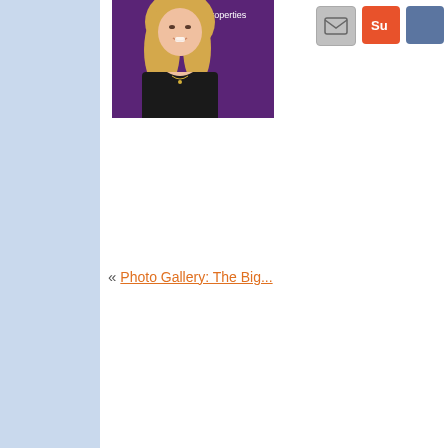[Figure (photo): Headshot photo of a blonde woman smiling, wearing a black top, in front of a purple banner reading 'Montana Properties']
[Figure (other): Email icon button (gray), StumbleUpon icon button (orange with 'Su'), and a blue partial icon button]
« Photo Gallery: The Big...